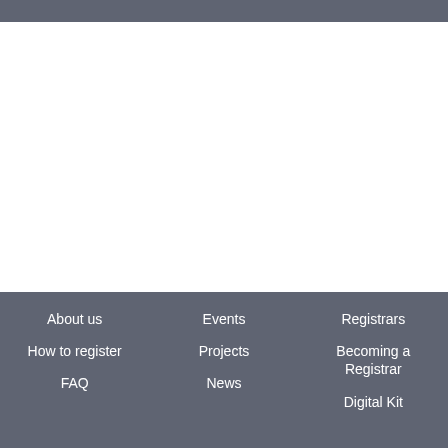About us
How to register
FAQ
Events
Projects
News
Registrars
Becoming a Registrar
Digital Kit